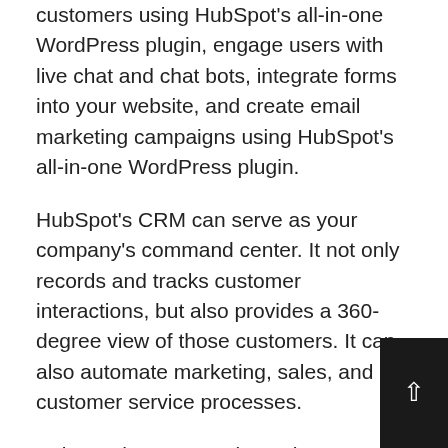customers using HubSpot's all-in-one WordPress plugin, engage users with live chat and chat bots, integrate forms into your website, and create email marketing campaigns using HubSpot's all-in-one WordPress plugin.
HubSpot's CRM can serve as your company's command center. It not only records and tracks customer interactions, but also provides a 360-degree view of those customers. It can also automate marketing, sales, and customer service processes.
Using HubSpot, you do not have to move data from one software tool to another, as all of your data can be stored in one location. Integrating HubSpot with OptinMonster and MailChimp enables you to gain access to all customer